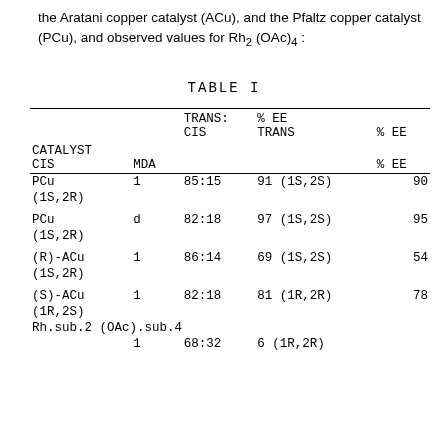the Aratani copper catalyst (ACu), and the Pfaltz copper catalyst (PCu), and observed values for Rh2(OAc)4:
TABLE I
| CATALYST CIS | MDA | TRANS:CIS | % EE TRANS | % EE CIS |
| --- | --- | --- | --- | --- |
| PCu | 1 | 85:15 | 91 (1S,2S) | 90 (1S,2R) |
| PCu | d | 82:18 | 97 (1S,2S) | 95 (1S,2R) |
| (R)-ACu | 1 | 86:14 | 69 (1S,2S) | 54 (1S,2R) |
| (S)-ACu | 1 | 82:18 | 81 (1R,2R) | 78 (1R,2S) |
| Rh.sub.2 (OAc).sub.4 | 1 | 68:32 | 6 (1R,2R) |  |